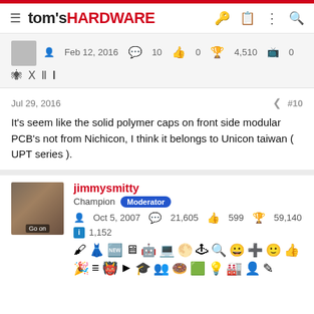tom's HARDWARE
Feb 12, 2016  10  0  4,510  0
Jul 29, 2016  #10
It's seem like the solid polymer caps on front side modular PCB's not from Nichicon, I think it belongs to Unicon taiwan ( UPT series ).
jimmysmitty
Champion Moderator
Oct 5, 2007  21,605  599  59,140
1,152